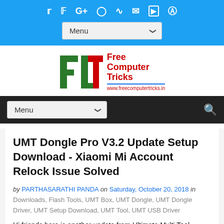[Figure (other): Top blue navigation bar with social media icons (Twitter, Facebook, Google+, Instagram, RSS, Email, YouTube, Pinterest) and a Menu dropdown]
[Figure (logo): Free Computer Tricks logo with FCT letters in green and red text, URL www.freecomputertricks.in]
[Figure (other): Black navigation bar with Menu dropdown and search icon]
UMT Dongle Pro V3.2 Update Setup Download - Xiaomi Mi Account Relock Issue Solved
by PARTHASARATHI PANDA on Saturday, October 20, 2018 in Downloads, Flash Tools, UMT Box, UMT Dongle, UMT Dongle Driver, UMT Setup Download, UMT Tool, UMT USB Driver
Hi friends here is another update from Ultimate Multi Tool (UMT)